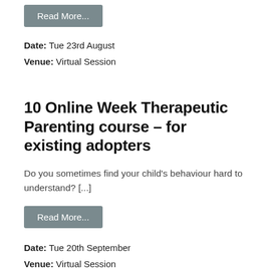Read More...
Date: Tue 23rd August
Venue: Virtual Session
10 Online Week Therapeutic Parenting course – for existing adopters
Do you sometimes find your child's behaviour hard to understand? [...]
Read More...
Date: Tue 20th September
Venue: Virtual Session